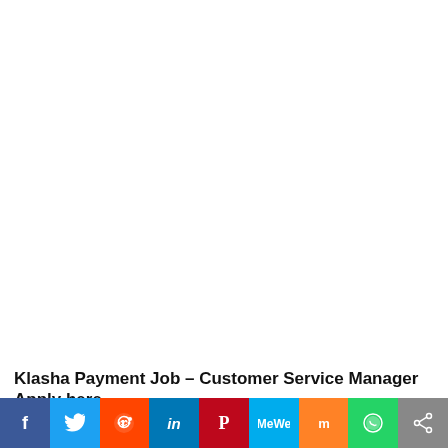Klasha Payment Job – Customer Service Manager Apply here
We're hiring a Customer Service Manager to manage
[Figure (infographic): Social media share bar with icons: Facebook, Twitter, Reddit, LinkedIn, Pinterest, MeWe, Mix, WhatsApp, Share]